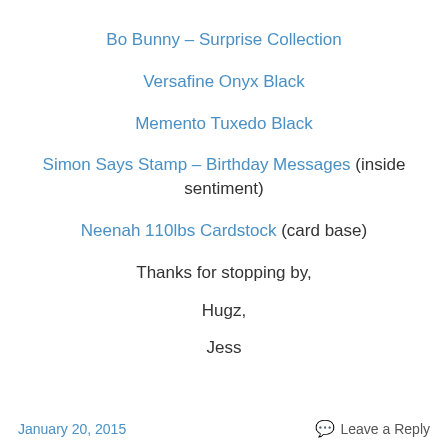Bo Bunny – Surprise Collection
Versafine Onyx Black
Memento Tuxedo Black
Simon Says Stamp – Birthday Messages (inside sentiment)
Neenah 110lbs Cardstock (card base)
Thanks for stopping by,

Hugz,

Jess
January 20, 2015    Leave a Reply